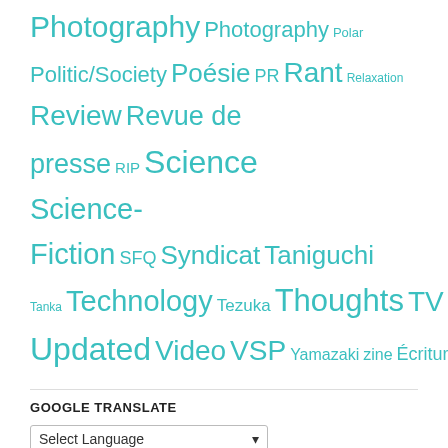Photography Photography Polar Politic/Society Poésie PR Rant Relaxation Review Revue de presse RIP Science Science-Fiction SFQ Syndicat Taniguchi Tanka Technology Tezuka Thoughts TV Updated Video VSP Yamazaki zine Écriture
GOOGLE TRANSLATE
Select Language — Powered by Google Translate
FOLLOW US